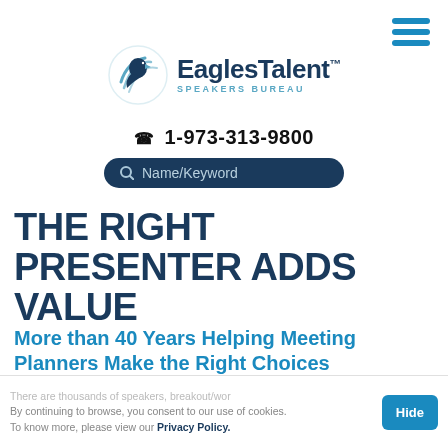[Figure (logo): EaglesTalent Speakers Bureau logo with eagle icon in teal/blue and dark navy text, TM mark, and hamburger menu icon top right]
☎ 1-973-313-9800
Name/Keyword
THE RIGHT PRESENTER ADDS VALUE
More than 40 Years Helping Meeting Planners Make the Right Choices
There are thousands of speakers, breakout/wor... By continuing to browse, you consent to our use of cookies. To know more, please view our Privacy Policy. ...ion presenters, motivational celebrities, and... entertainers who are available to appear your